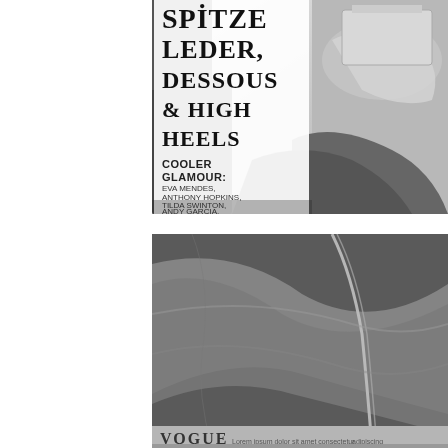[Figure (photo): Close-up photograph of a fashion magazine cover showing text: 'SPITZE LEDER DESSOUS & HIGH HEELS' and 'COOLER GLAMOUR: EVA MENDES, ANTHONY HOPKINS, TILDA SWINTON, ANDY GARCIA, HELEN MIRREN...' with high-heeled shoes and accessories visible in the background. Black and white / light gray tones.]
[Figure (photo): Close-up blurred black and white photograph of fabric or clothing draped over what appears to be a VOGUE magazine. The bottom edge of the image shows partial text 'VOGUE' and some additional smaller text.]